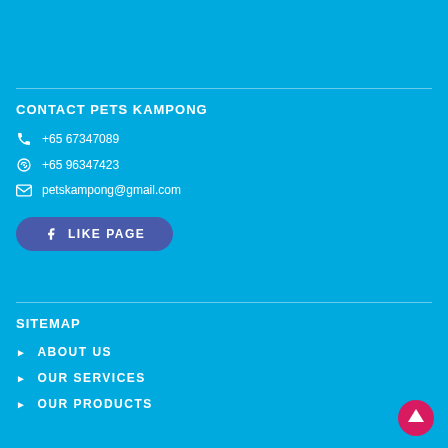CONTACT PETS KAMPONG
+65 67347089
+65 96347423
petskampong@gmail.com
LIKE PAGE
SITEMAP
ABOUT US
OUR SERVICES
OUR PRODUCTS